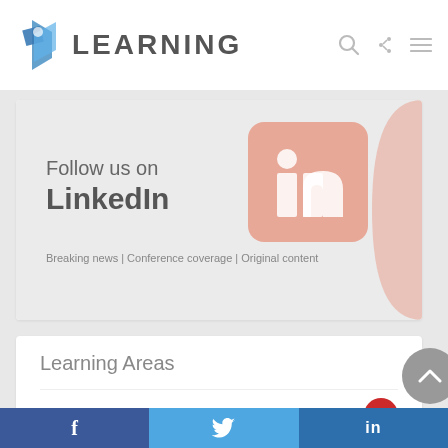B LEARNING
[Figure (illustration): Follow us on LinkedIn banner with LinkedIn logo and text: 'Follow us on LinkedIn | Breaking news | Conference coverage | Original content']
Learning Areas
Aortic 43
Cardio 39
f  (Twitter bird)  in